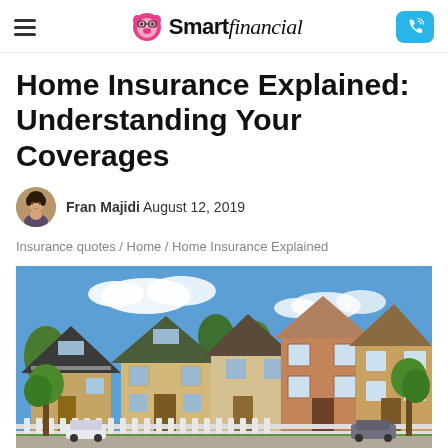SmartFinancial
Home Insurance Explained: Understanding Your Coverages
Fran Majidi August 12, 2019
Insurance quotes / Home / Home Insurance Explained
[Figure (photo): Row of suburban houses with various architectural styles, brick and siding facades, green trees, blue sky with clouds, parked vehicles visible on the street]